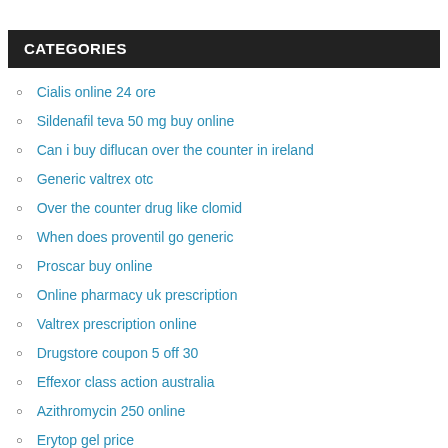CATEGORIES
Cialis online 24 ore
Sildenafil teva 50 mg buy online
Can i buy diflucan over the counter in ireland
Generic valtrex otc
Over the counter drug like clomid
When does proventil go generic
Proscar buy online
Online pharmacy uk prescription
Valtrex prescription online
Drugstore coupon 5 off 30
Effexor class action australia
Azithromycin 250 online
Erytop gel price
Generic drug for tecta